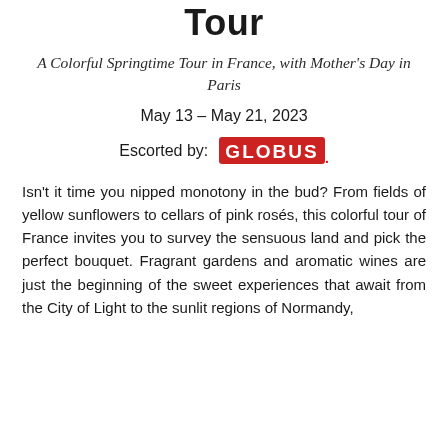Tour
A Colorful Springtime Tour in France, with Mother's Day in Paris
May 13 – May 21, 2023
Escorted by: GLOBUS.
Isn't it time you nipped monotony in the bud? From fields of yellow sunflowers to cellars of pink rosés, this colorful tour of France invites you to survey the sensuous land and pick the perfect bouquet. Fragrant gardens and aromatic wines are just the beginning of the sweet experiences that await from the City of Light to the sunlit regions of Normandy,